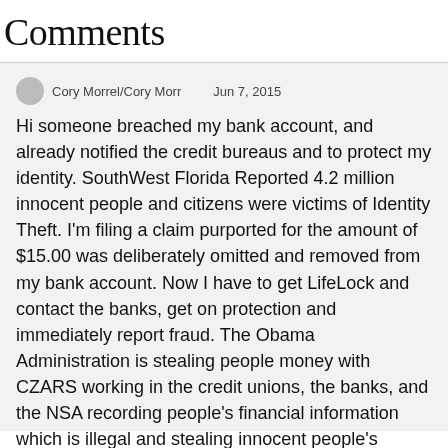Comments
Cory Morrel/Cory Morr   Jun 7, 2015
Hi someone breached my bank account, and already notified the credit bureaus and to protect my identity. SouthWest Florida Reported 4.2 million innocent people and citizens were victims of Identity Theft. I'm filing a claim purported for the amount of $15.00 was deliberately omitted and removed from my bank account. Now I have to get LifeLock and contact the banks, get on protection and immediately report fraud. The Obama Administration is stealing people money with CZARS working in the credit unions, the banks, and the NSA recording people's financial information which is illegal and stealing innocent people's money... I'm filing a report in good faith and money was stolen from people... on the 4th of June 2 days ago... WIRE TRANS SVC CHARGE -